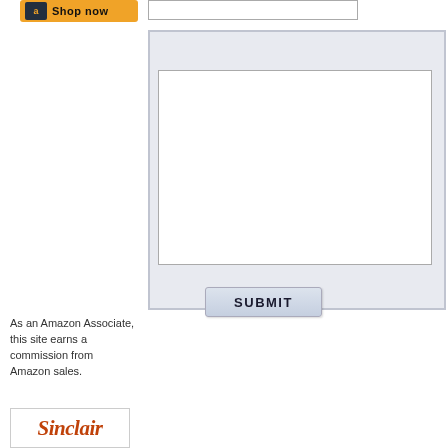[Figure (screenshot): Amazon 'Shop now' button with orange background and Amazon icon]
[Figure (screenshot): Web form with text input field at top, large textarea, and SUBMIT button on a light blue-grey panel]
As an Amazon Associate, this site earns a commission from Amazon sales.
[Figure (logo): Sinclair logo in orange italic serif font inside a bordered box]